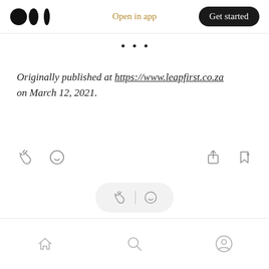Medium logo | Open in app | Get started
• • •
Originally published at https://www.leapfirst.co.za on March 12, 2021.